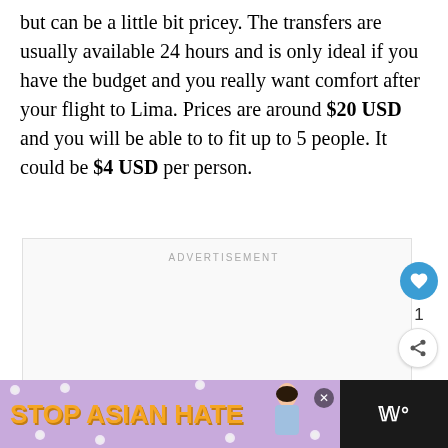but can be a little bit pricey. The transfers are usually available 24 hours and is only ideal if you have the budget and you really want comfort after your flight to Lima. Prices are around $20 USD and you will be able to fit up to 5 people. It could be $4 USD per person.
[Figure (other): Advertisement placeholder box with 'ADVERTISEMENT' label, like button (heart icon, blue circle), count of 1, and share button]
[Figure (other): What's Next panel showing a thumbnail image and text 'How To Get From Paraca...']
[Figure (other): Bottom advertisement banner with 'STOP ASIAN HATE' text on purple background with flower decorations, close button, and dark right panel with W logo]